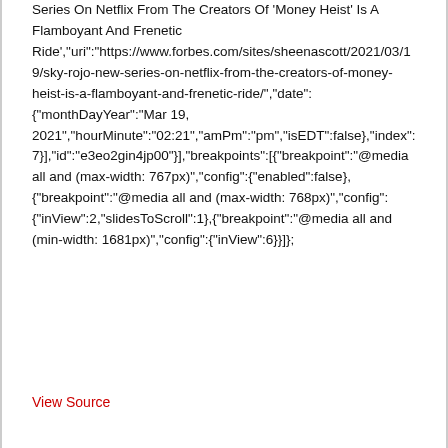Series On Netflix From The Creators Of 'Money Heist' Is A Flamboyant And Frenetic Ride","uri":"https://www.forbes.com/sites/sheenascott/2021/03/19/sky-rojo-new-series-on-netflix-from-the-creators-of-money-heist-is-a-flamboyant-and-frenetic-ride/","date":{"monthDayYear":"Mar 19, 2021","hourMinute":"02:21","amPm":"pm","isEDT":false},"index":7}],"id":"e3eo2gin4jp00"}],"breakpoints":[{"breakpoint":"@media all and (max-width: 767px)","config":{"enabled":false},{"breakpoint":"@media all and (max-width: 768px)","config":{"inView":2,"slidesToScroll":1},{"breakpoint":"@media all and (min-width: 1681px)","config":{"inView":6}}]};
View Source